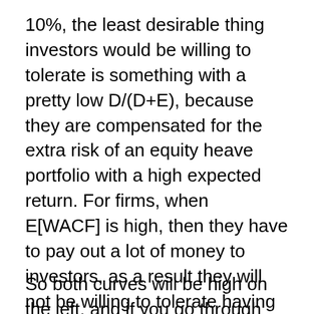10%, the least desirable thing investors would be willing to tolerate is something with a pretty low D/(D+E), because they are compensated for the extra risk of an equity heave portfolio with a high expected return. For firms, when E[WACF] is high, then they have to pay out a lot of money to investors, as a result they will not be willing to tolerate having too much of the financing be debt; they will only tolerate a maximum D/(D+E) that's pretty low.
So both curves will be high on the left, and if you go through